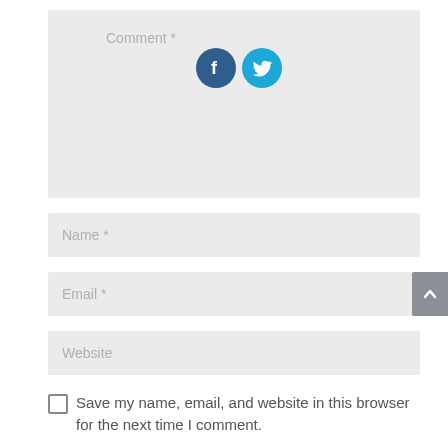[Figure (screenshot): Comment text area input field with placeholder text 'Comment *' and Facebook and Twitter social icons in top area]
Name *
Email *
Website
Save my name, email, and website in this browser for the next time I comment.